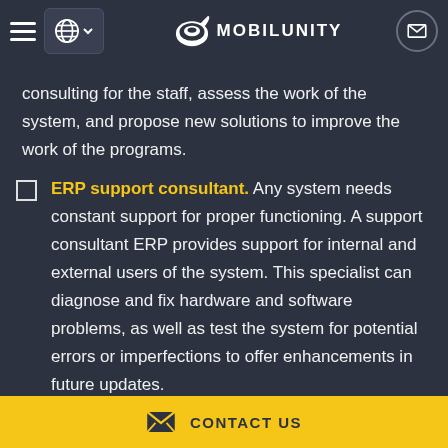MOBILUNITY (navigation header)
consulting for the staff, assess the work of the system, and propose new solutions to improve the work of the programs.
ERP support consultant. Any system needs constant support for proper functioning. A support consultant ERP provides support for internal and external users of the system. This specialist can diagnose and fix hardware and software problems, as well as test the system for potential errors or imperfections to offer enhancements in future updates.
CONTACT US